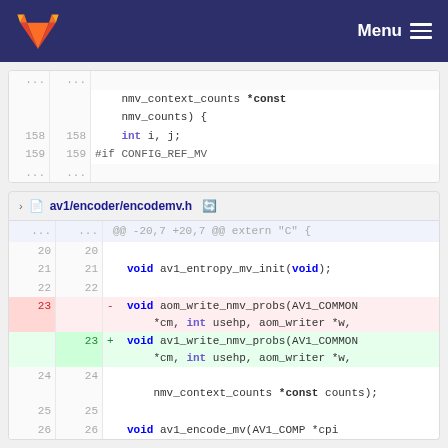GitLab Menu
[Figure (screenshot): Code diff showing nmv_context_counts *const nmv_counts) { with int i, j; on line 158 and #if CONFIG_REF_MV on line 159, followed by dots]
av1/encoder/encodemv.h
[Figure (screenshot): Code diff for av1/encoder/encodemv.h showing @@ -20,7 +20,7 @@ extern C { block. Lines 20-22 are context. Line 23 deleted: void aom_write_nmv_probs(AV1_COMMON *cm, int usehp, aom_writer *w,. Line 23 added: void av1_write_nmv_probs(AV1_COMMON *cm, int usehp, aom_writer *w,. Line 24: nmv_context_counts *const counts);. Line 25 empty. Line 26: void av1_encode_mv(AV1_COMP *cpi]